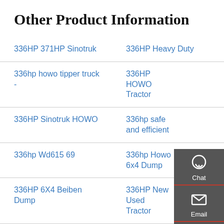Other Product Information
336HP 371HP Sinotruk
336HP Heavy Duty
336hp howo tipper truck -
336HP HOWO Tractor
336HP Sinotruk HOWO
336hp safe and efficient
336hp Wd615 69
336hp Howo 6x4 Dump
336HP 6X4 Beiben Dump
336HP New Used Tractor
336hp 10 wheels HOWO
336hp Wd615 69